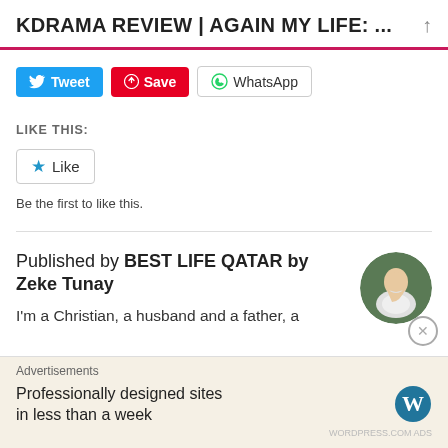KDRAMA REVIEW | AGAIN MY LIFE: ...
Tweet  Save  WhatsApp
LIKE THIS:
Like
Be the first to like this.
Published by BEST LIFE QATAR by Zeke Tunay
I'm a Christian, a husband and a father, a
[Figure (photo): Circular avatar photo of author sitting outdoors in white top]
Advertisements
Professionally designed sites in less than a week